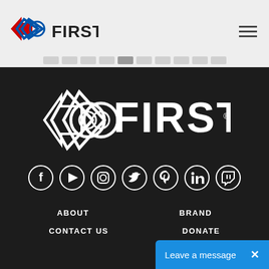[Figure (logo): FIRST Robotics logo in header — red and blue arrow shapes with FIRST text]
[Figure (logo): FIRST Robotics large white logo on dark background footer]
[Figure (infographic): Row of social media icon circles: Facebook, YouTube, Instagram, Twitter, Pinterest, LinkedIn, Twitch]
ABOUT
BRAND
CONTACT US
DONATE
Leave a message